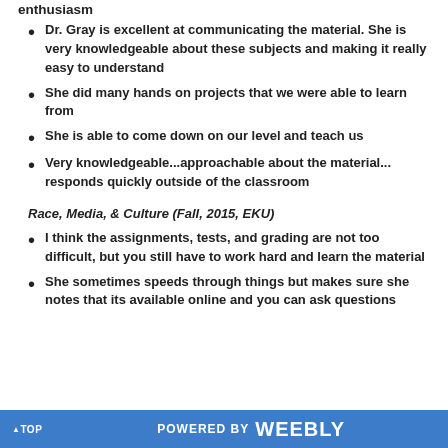enthusiasm
Dr. Gray is excellent at communicating the material. She is very knowledgeable about these subjects and making it really easy to understand
She did many hands on projects that we were able to learn from
She is able to come down on our level and teach us
Very knowledgeable...approachable about the material... responds quickly outside of the classroom
Race, Media, & Culture (Fall, 2015, EKU)
I think the assignments, tests, and grading are not too difficult, but you still have to work hard and learn the material
She sometimes speeds through things but makes sure she notes that its available online and you can ask questions
▲ TOP   POWERED BY weebly